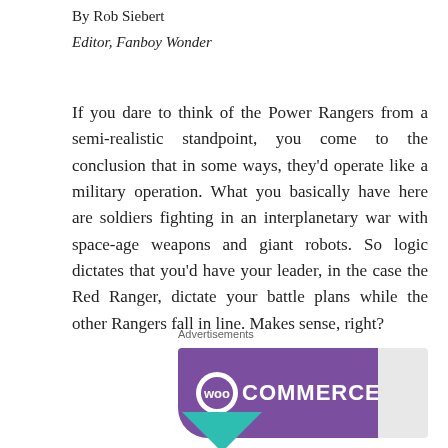By Rob Siebert
Editor, Fanboy Wonder
If you dare to think of the Power Rangers from a semi-realistic standpoint, you come to the conclusion that in some ways, they'd operate like a military operation. What you basically have here are soldiers fighting in an interplanetary war with space-age weapons and giant robots. So logic dictates that you'd have your leader, in the case the Red Ranger, dictate your battle plans while the other Rangers fall in line. Makes sense, right?
Advertisements
[Figure (logo): WooCommerce advertisement banner with purple background and WooCommerce logo in white text]